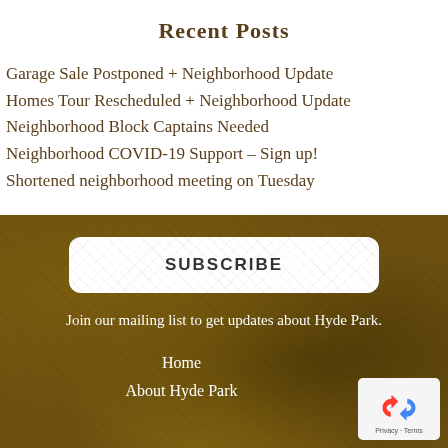Recent Posts
Garage Sale Postponed + Neighborhood Update
Homes Tour Rescheduled + Neighborhood Update
Neighborhood Block Captains Needed
Neighborhood COVID-19 Support – Sign up!
Shortened neighborhood meeting on Tuesday
[Figure (other): Dark brown textured background (appears to be a natural fiber or bark texture) serving as the footer/background section of a community website]
SUBSCRIBE
Join our mailing list to get updates about Hyde Park.
Home
About Hyde Park